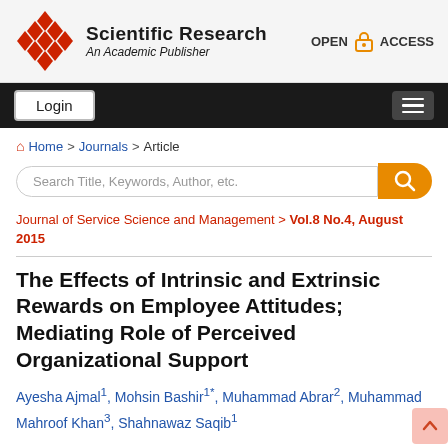Scientific Research — An Academic Publisher | OPEN ACCESS
Login | Menu
Home > Journals > Article
Search Title, Keywords, Author, etc.
Journal of Service Science and Management > Vol.8 No.4, August 2015
The Effects of Intrinsic and Extrinsic Rewards on Employee Attitudes; Mediating Role of Perceived Organizational Support
Ayesha Ajmal1, Mohsin Bashir1*, Muhammad Abrar2, Muhammad Mahroof Khan3, Shahnawaz Saqib1